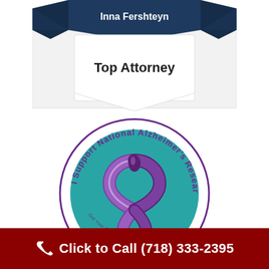[Figure (logo): Top Attorney badge with navy blue ribbon banner at top reading 'Inna Fershteyn' and white shield/badge body with 'Top Attorney' text in bold]
[Figure (logo): I Support National Alzheimer's Research circular stamp logo with teal circle background, purple awareness ribbon in center, stars along bottom arc, and circular text reading 'I Support National Alzheimer's Research' with 'Get Your W...visor.com' at bottom]
Click to Call (718) 333-2395